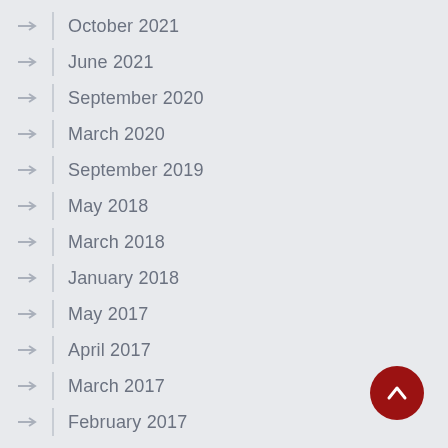October 2021
June 2021
September 2020
March 2020
September 2019
May 2018
March 2018
January 2018
May 2017
April 2017
March 2017
February 2017